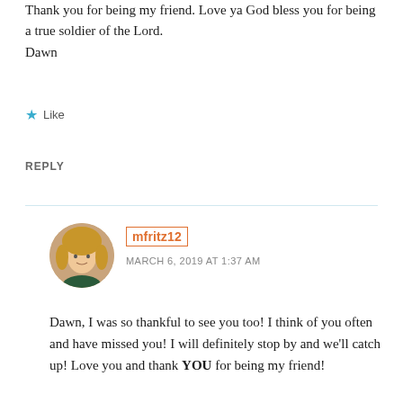Thank you for being my friend. Love ya God bless you for being a true soldier of the Lord.
Dawn
★ Like
REPLY
mfritz12
MARCH 6, 2019 AT 1:37 AM
Dawn, I was so thankful to see you too! I think of you often and have missed you! I will definitely stop by and we'll catch up! Love you and thank YOU for being my friend!